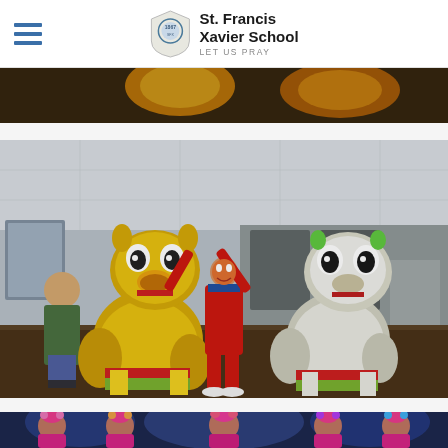St. Francis Xavier School — LET US PRAY
[Figure (photo): Partial view of a warmly lit room with orange lanterns, decorative ceiling]
[Figure (photo): Chinese lion dance performance indoors: yellow lion on left, person in red traditional costume in center with arms raised, white lion on right; spectator man on far left; kitchen area visible in background]
[Figure (photo): Five young girls in colorful Chinese performance costumes with headpieces, lit with colorful stage lighting, smiling at camera]